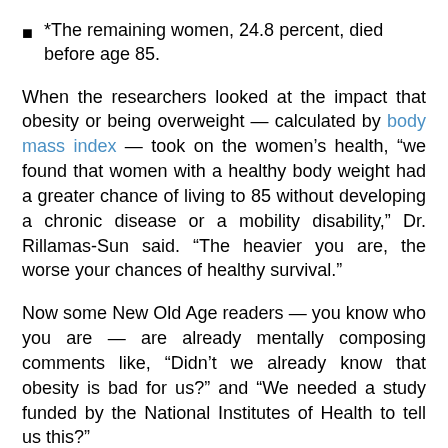*The remaining women, 24.8 percent, died before age 85.
When the researchers looked at the impact that obesity or being overweight — calculated by body mass index — took on the women's health, “we found that women with a healthy body weight had a greater chance of living to 85 without developing a chronic disease or a mobility disability,” Dr. Rillamas-Sun said. “The heavier you are, the worse your chances of healthy survival.”
Now some New Old Age readers — you know who you are — are already mentally composing comments like, “Didn’t we already know that obesity is bad for us?” and “We needed a study funded by the National Institutes of Health to tell us this?”